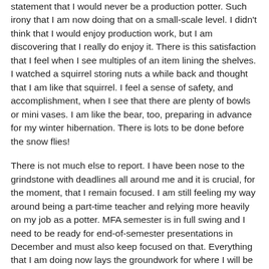statement that I would never be a production potter. Such irony that I am now doing that on a small-scale level. I didn't think that I would enjoy production work, but I am discovering that I really do enjoy it. There is this satisfaction that I feel when I see multiples of an item lining the shelves. I watched a squirrel storing nuts a while back and thought that I am like that squirrel. I feel a sense of safety, and accomplishment, when I see that there are plenty of bowls or mini vases. I am like the bear, too, preparing in advance for my winter hibernation. There is lots to be done before the snow flies!
There is not much else to report. I have been nose to the grindstone with deadlines all around me and it is crucial, for the moment, that I remain focused. I am still feeling my way around being a part-time teacher and relying more heavily on my job as a potter. MFA semester is in full swing and I need to be ready for end-of-semester presentations in December and must also keep focused on that. Everything that I am doing now lays the groundwork for where I will be down the road on this incredible life journey. It is a head-spinning time with all the multi-tasking, but it is all meaningful.